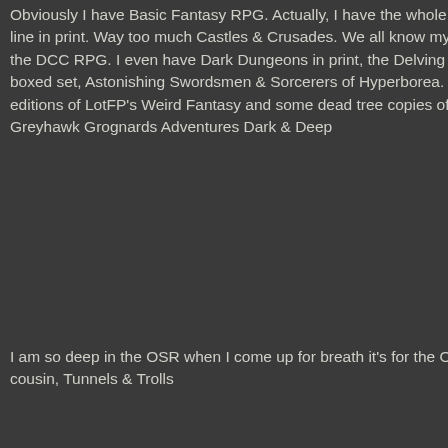Obviously I have Basic Fantasy RPG. Actually, I have the whole available line in print. Way too much Castles & Crusades. We all know my love for the DCC RPG. I even have Dark Dungeons in print, the Delving Deeper boxed set, Astonishing Swordsmen & Sorcerers of Hyperborea. BOTH editions of LotFP's Weird Fantasy and some dead tree copies of the Greyhawk Grognards Adventures Dark & Deep
I am so deep in the OSR when I come up for breath it's for the OSR's cousin, Tunnels & Trolls
So, out of all that, why Swords & Wizardry? Why, when I have been running a AD&D 1e / OSRIC campaign in Rappan
Order Of The Crimson Di... - Steve Jackson Interview - Ja... Steve chats about the beginn... 1 year ago
Omens and Portents - The Hero's Journey 2nd Editi... copy) I have been a James M... 1 year ago
Unvisible Citadel - Undermountain Map Origins -... Greenwood's original maps," 2 years ago
The Warlock's Home Brew - A Campaign Begins for Newb... millions of us fellow mutants f... 2 years ago
White Box - WB:FMAG Total Print Sales -... from Amazon, Lulu and Drive... 2 years ago
JB Publishing - The Minotaur for Old-School... STR and CON *Hit Dice:* 1d1... 2 years ago
Hill Cantons